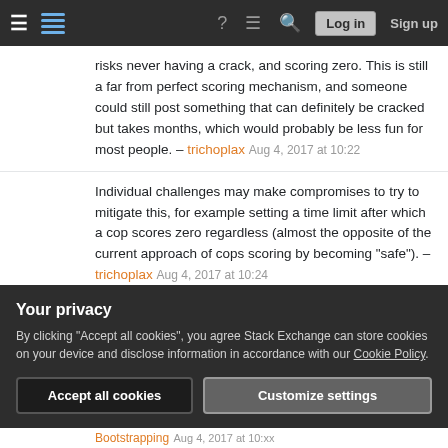Stack Exchange navigation bar with hamburger menu, logo, help, chat, search icons, Log in and Sign up buttons
risks never having a crack, and scoring zero. This is still a far from perfect scoring mechanism, and someone could still post something that can definitely be cracked but takes months, which would probably be less fun for most people. – trichoplax Aug 4, 2017 at 10:22
Individual challenges may make compromises to try to mitigate this, for example setting a time limit after which a cop scores zero regardless (almost the opposite of the current approach of cops scoring by becoming "safe"). – trichoplax Aug 4, 2017 at 10:24
On your first point, that's right; I intended to write
Your privacy
By clicking "Accept all cookies", you agree Stack Exchange can store cookies on your device and disclose information in accordance with our Cookie Policy.
Accept all cookies
Customize settings